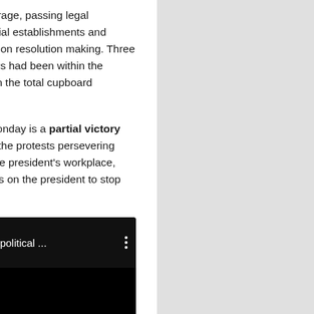the army to implement coverage, passing legal guidelines to weaken impartial establishments and sustaining a near-monopoly on resolution making. Three different Rajapaksa members had been within the cupboard till early April when the total cupboard resigned over the protests.
Mahinda's resignation on Monday is a partial victory for the demonstrators. With the protests persevering with, particularly outdoors the president's workplace, there may be renewed stress on the president to stop too.
[Figure (screenshot): Embedded Al Jazeera YouTube video thumbnail with black background, Al Jazeera orange logo circle on left, title text 'Is the Rajapaksa political ...' in white, and three-dot menu icon on right.]